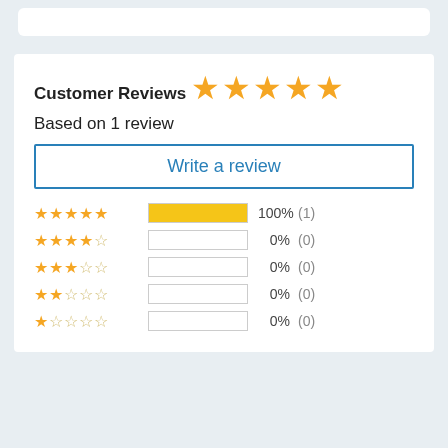Customer Reviews
[Figure (other): 5 filled golden stars rating display]
Based on 1 review
Write a review
[Figure (bar-chart): Rating breakdown]